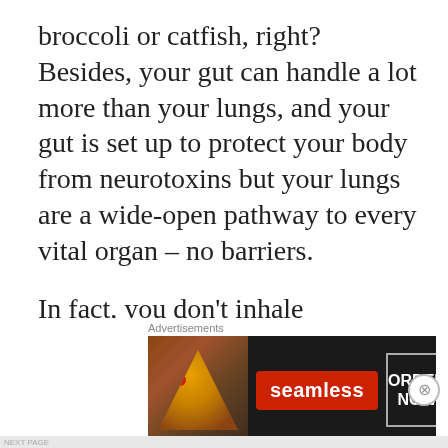broccoli or catfish, right? Besides, your gut can handle a lot more than your lungs, and your gut is set up to protect your body from neurotoxins but your lungs are a wide-open pathway to every vital organ – no barriers.
In fact, you don't inhale pesticides into your lungs from any other consumer product; contaminated food and drink go through your digestive system and produce completely different outcomes from the same pesticides inhaled. E...
[Figure (screenshot): Advertisement banner for Seamless food delivery. Shows pizza image on left, Seamless logo in red center button, and ORDER NOW button with white border on right, all on dark background. 'Advertisements' label above.]